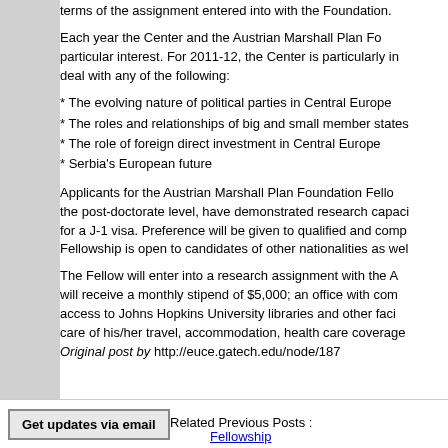terms of the assignment entered into with the Foundation.
Each year the Center and the Austrian Marshall Plan Fo particular interest. For 2011-12, the Center is particularly in deal with any of the following:
* The evolving nature of political parties in Central Europe
* The roles and relationships of big and small member states
* The role of foreign direct investment in Central Europe
* Serbia's European future
Applicants for the Austrian Marshall Plan Foundation Fello the post-doctorate level, have demonstrated research capaci for a J-1 visa. Preference will be given to qualified and comp Fellowship is open to candidates of other nationalities as wel
The Fellow will enter into a research assignment with the A will receive a monthly stipend of $5,000; an office with com access to Johns Hopkins University libraries and other faci care of his/her travel, accommodation, health care coverage Original post by http://euce.gatech.edu/node/187
Related Previous Posts :
Fellowship